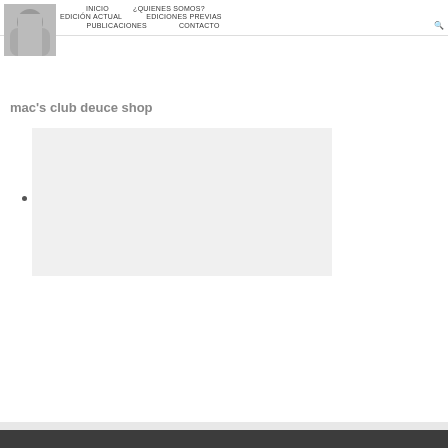INICIO   ¿QUIENES SOMOS?   EDICIÓN ACTUAL   EDICIONES PREVIAS   PRENSA   PUBLICACIONES   CONTACTO   🔍
[Figure (logo): Circular logo placeholder with arch/silhouette shape in gray]
mac's club deuce shop
[Figure (photo): Large light gray rectangular image placeholder with a bullet point on the left side]